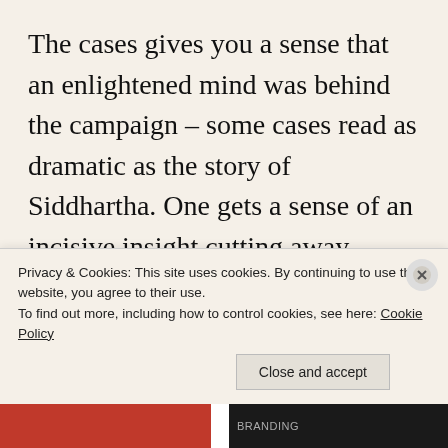The cases gives you a sense that an enlightened mind was behind the campaign – some cases read as dramatic as the story of Siddhartha. One gets a sense of an incisive insight cutting away unprofitable behaviors and perceptions, suturing profitable ones. In reality, brands seldom follow as simple a trajectory. I mean, sure, great ideas do have out-sized impact on
Privacy & Cookies: This site uses cookies. By continuing to use this website, you agree to their use.
To find out more, including how to control cookies, see here: Cookie Policy